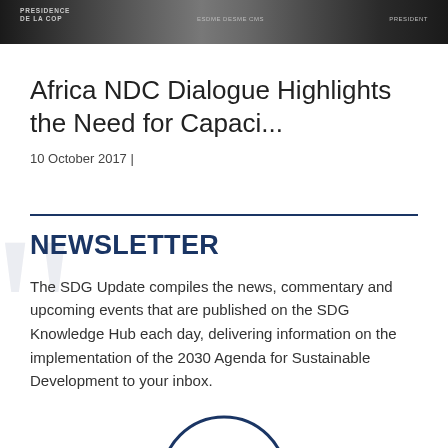[Figure (photo): Black and white photograph of people at what appears to be a COP presidency event, with text overlays reading PRESIDENCE DE LA COP, and PRESIDENT]
Africa NDC Dialogue Highlights the Need for Capaci...
10 October 2017 |
NEWSLETTER
The SDG Update compiles the news, commentary and upcoming events that are published on the SDG Knowledge Hub each day, delivering information on the implementation of the 2030 Agenda for Sustainable Development to your inbox.